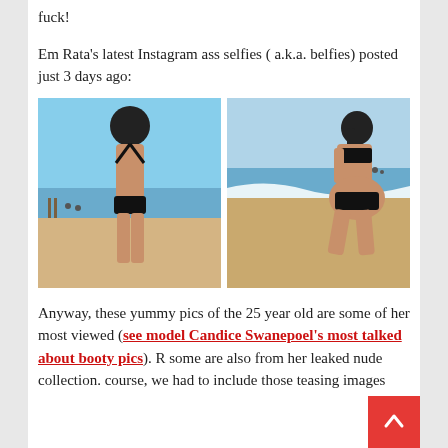fuck!
Em Rata's latest Instagram ass selfies ( a.k.a. belfies) posted just 3 days ago:
[Figure (photo): Two beach photos of a woman in a black bikini from behind]
Anyway, these yummy pics of the 25 year old are some of her most viewed (see model Candice Swanepoel's most talked about booty pics). R some are also from her leaked nude collection. course, we had to include those teasing images